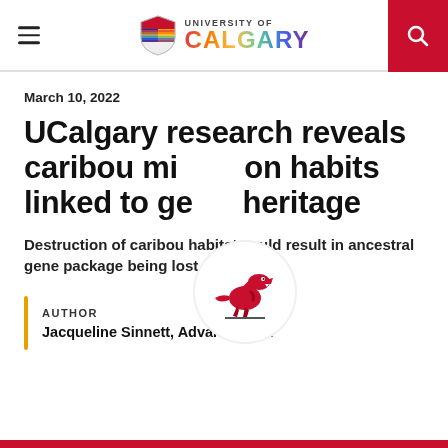University of Calgary
March 10, 2022
UCalgary research reveals caribou migration habits linked to genetic heritage
Destruction of caribou habitat could result in ancestral gene package being lost entirely
AUTHOR
Jacqueline Sinnett, Advancement